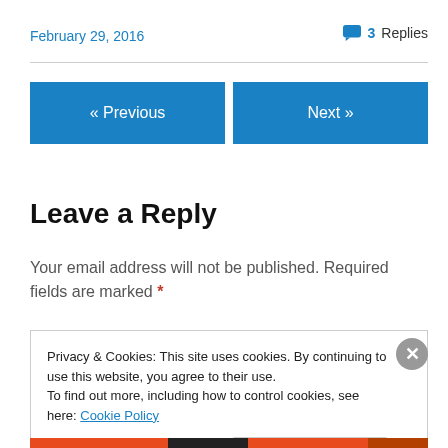February 29, 2016
3 Replies
« Previous
Next »
Leave a Reply
Your email address will not be published. Required fields are marked *
Privacy & Cookies: This site uses cookies. By continuing to use this website, you agree to their use.
To find out more, including how to control cookies, see here: Cookie Policy
Close and accept